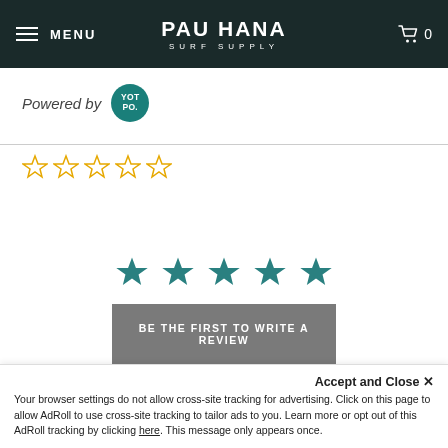MENU | PAU HANA SURF SUPPLY | 0
Powered by YOTPO.
[Figure (other): Five empty outline star icons for rating]
[Figure (other): Five filled teal star icons for rating]
BE THE FIRST TO WRITE A REVIEW
Accept and Close ×
Your browser settings do not allow cross-site tracking for advertising. Click on this page to allow AdRoll to use cross-site tracking to tailor ads to you. Learn more or opt out of this AdRoll tracking by clicking here. This message only appears once.